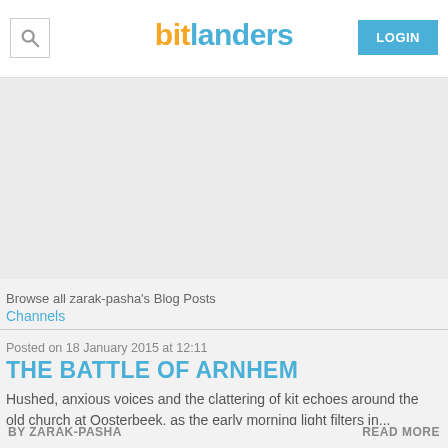bitlanders | LOGIN
Browse all zarak-pasha's Blog Posts
Channels
Posted on 18 January 2015 at 12:11
THE BATTLE OF ARNHEM
Hushed, anxious voices and the clattering of kit echoes around the old church at Oosterbeek, as the early morning light filters in...
BY ZARAK-PASHA    READ MORE